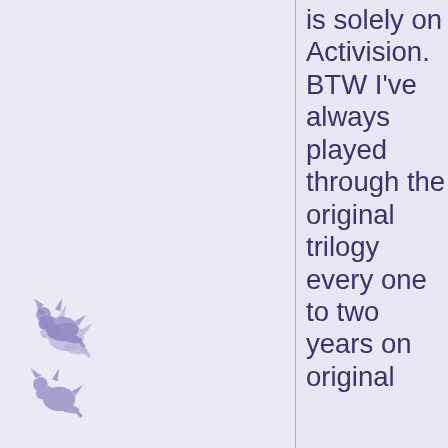[Figure (illustration): Small purple dragon silhouette, top-left area]
[Figure (illustration): Small purple dragon silhouette, bottom-left area]
[Figure (illustration): Small purple dragon silhouette, top-right area]
[Figure (illustration): Small purple dragon silhouette, bottom-right area]
is solely on Activision. BTW I've always played through the original trilogy every one to two years on original